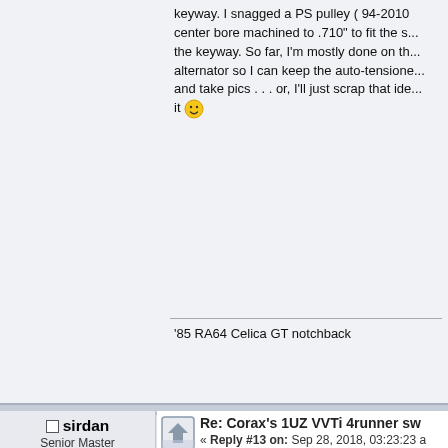keyway. I snagged a PS pulley ( 94-2010 center bore machined to .710" to fit the s... the keyway. So far, I'm mostly done on th... alternator so I can keep the auto-tensione... and take pics . . . or, I'll just scrap that ide... it 🙂
'85 RA64 Celica GT notchback
sirdan
Senior Master
Posts: 6,773
Re: Corax's 1UZ VVTi 4runner sw
« Reply #13 on: Sep 28, 2018, 03:23:23 a
Well I'm going to be excited to see your u... think it would be fairly easy and cheap ke... body lift but, I don't know where it hits with or lower floor pan area but anything that w... me to do a body lift instead. Anyway you g close to the same mpgs, v8 rumble and m...
1988 4runner
[Figure (illustration): 22RE Performance logo - black rectangle with red stripes and bold gray text]
[Figure (illustration): Side view illustration of a 1988 4runner SUV on graph paper background]